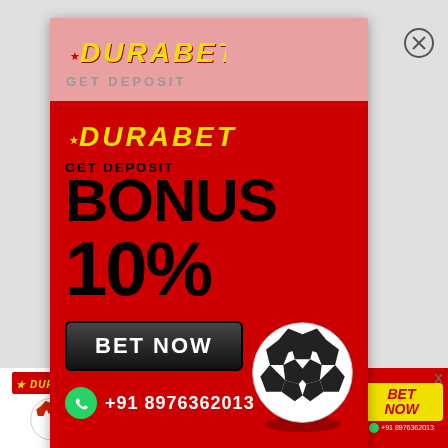[Figure (infographic): Durabet betting popup ad with pink header showing DURABET logo and GET DEPOSIT text, red body with DURABET logo, GET DEPOSIT BONUS 10% text, BET NOW button, soccer ball image, and WhatsApp number +91 8976362013]
[Figure (infographic): Bottom banner ad for Durabet showing logo, GET DEPOSIT BONUS 10% text, www.durabet.com, BET NOW button, and +91 8976362013 phone number with WhatsApp icon]